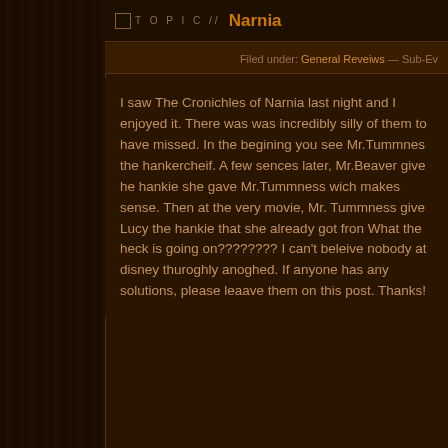TOPIC // Narnia
Filed under: General Reveiws — Sub-Ev
I saw The Cronichles of Narnia last night and I enjoyed it. There was was incredibly silly of them to have missed. In the begining you see Mr.Tummnes the hankercheif. A few sences later, Mr.Beaver give he hankie she gave Mr.Tummness wich makes sense. Then at the very movie, Mr. Tummness give Lucy the hankie that she already got fron What the heck is going on???????? I can't beleive nobody at disney thuroghly anoghed. If anyone has any solutions, please leaave them on this post. Thanks!
Comments (1)
Powered by WordPress